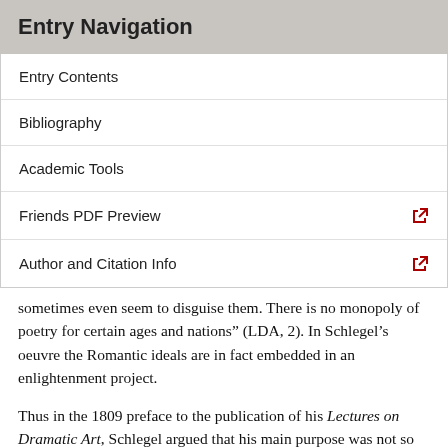Entry Navigation
Entry Contents
Bibliography
Academic Tools
Friends PDF Preview
Author and Citation Info
sometimes even seem to disguise them. There is no monopoly of poetry for certain ages and nations” (LDA, 2). In Schlegel’s oeuvre the Romantic ideals are in fact embedded in an enlightenment project.
Thus in the 1809 preface to the publication of his Lectures on Dramatic Art, Schlegel argued that his main purpose was not so much to transmit an indifferent account of the history of dramatic poetry, but most importantly to “develop those ideas which ought to guide us in our estimate” (LDA, vii). His objective was to liberate his listeners and readers from what he calls a “despotism in